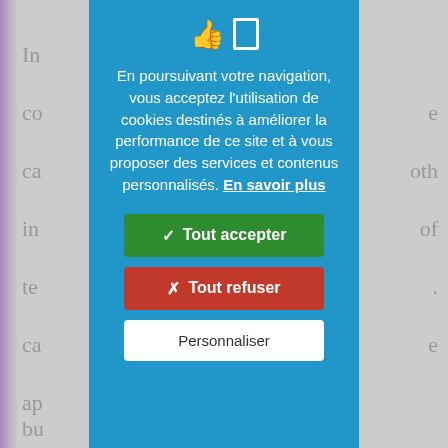[Figure (screenshot): Cookie consent modal dialog overlaid on a blurred webpage background. The modal has a blue background and contains French text about cookie usage, along with three buttons: 'Tout accepter' (green), 'Tout refuser' (red), and 'Personnaliser' (white).]
En poursuivant votre navigation, vous acceptez l'utilisation de cookies destinés à améliorer la performance de ce site et à vous proposer des services et contenus personnalisés. En savoir plus
✓ Tout accepter
✗ Tout refuser
Personnaliser